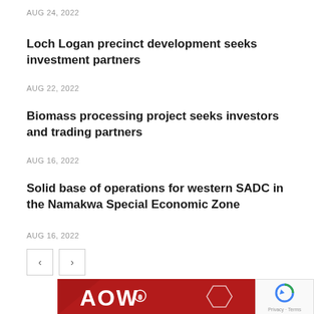AUG 24, 2022
Loch Logan precinct development seeks investment partners
AUG 22, 2022
Biomass processing project seeks investors and trading partners
AUG 16, 2022
Solid base of operations for western SADC in the Namakwa Special Economic Zone
AUG 16, 2022
[Figure (logo): AOW logo on dark red background with hexagon graphic]
[Figure (other): reCAPTCHA widget showing Privacy and Terms]